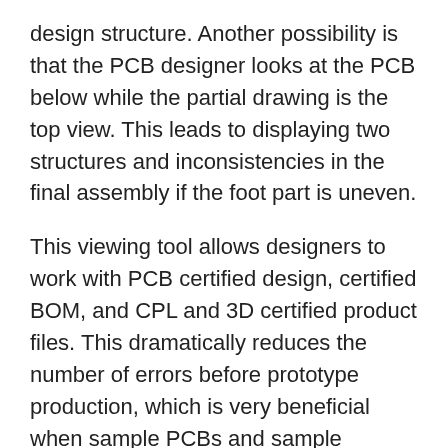design structure. Another possibility is that the PCB designer looks at the PCB below while the partial drawing is the top view. This leads to displaying two structures and inconsistencies in the final assembly if the foot part is uneven.
This viewing tool allows designers to work with PCB certified design, certified BOM, and CPL and 3D certified product files. This dramatically reduces the number of errors before prototype production, which is very beneficial when sample PCBs and sample samples are required very quickly.
This package service has met with a positive response: in 2019, Eurocircuits processed placement with more than 4,250 conference orders and delivered completed prototypes.